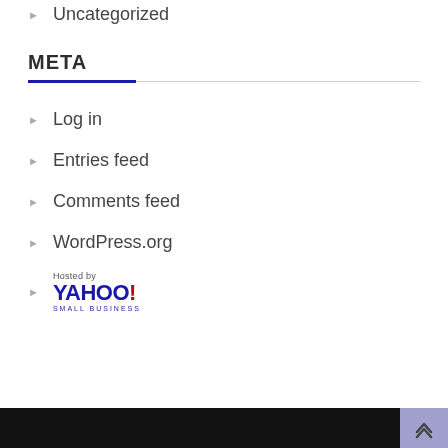Uncategorized
META
Log in
Entries feed
Comments feed
WordPress.org
[Figure (logo): Hosted by Yahoo! Small Business logo]